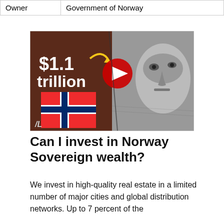| Owner | Government of Norway |
[Figure (illustration): YouTube video thumbnail showing '$1.1 trillion' text with a yellow arrow, Norwegian flag, YouTube play button, and a grayscale image of a face on currency, promoting a video about Norway Sovereign Wealth Fund]
Can I invest in Norway Sovereign wealth?
We invest in high-quality real estate in a limited number of major cities and global distribution networks. Up to 7 percent of the